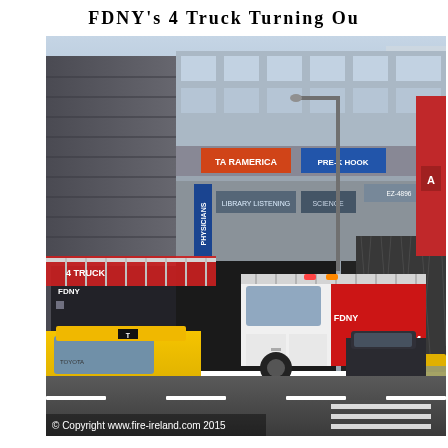FDNY's 4 Truck Turning Ou
[Figure (photo): A New York City street scene showing an FDNY fire truck (Ladder 4 Truck) turning out into traffic on a busy Manhattan street. Yellow taxi cabs are visible on both sides of the fire truck. The background shows multi-story commercial buildings with various storefront signs including 'TA RAMERICA', 'PRE-K HOOK', 'PHYSICIANS', 'LIBRARY LISTENING', and others. The image is credited to fire-ireland.com 2015.]
© Copyright www.fire-ireland.com 2015